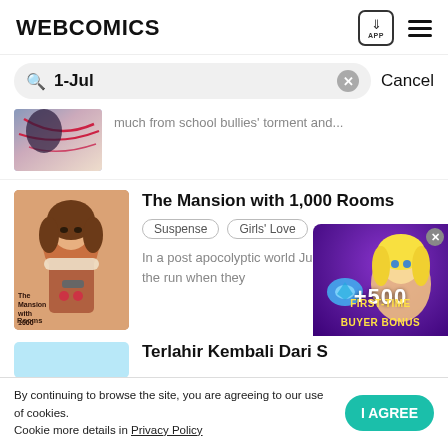WEBCOMICS
1-Jul
much from school bullies' torment and...
The Mansion with 1,000 Rooms
Suspense
Girls' Love
In a post apocolyptic world Juniper Maxwell is on the run when they
[Figure (screenshot): Partial manga thumbnail showing anime character with red ribbons]
[Figure (illustration): Manga cover for The Mansion with 1,000 Rooms showing a girl with curly brown hair holding a gun]
[Figure (illustration): Promotional overlay showing anime girl character with +500 FIRST-TIME BUYER BONUS in purple bubble]
Terlahir Kembali Dari S
By continuing to browse the site, you are agreeing to our use of cookies.
Cookie more details in Privacy Policy
I AGREE